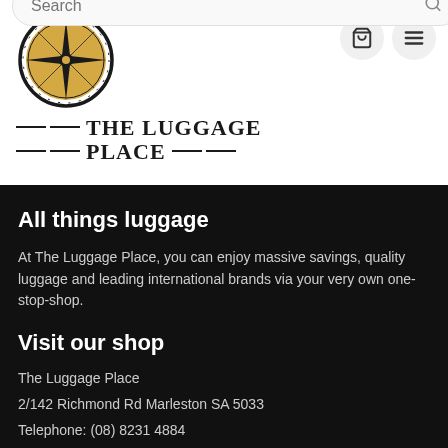[Figure (logo): The Luggage Place compass rose logo with black outer ring and gold/yellow center, with star/directional points]
THE LUGGAGE PLACE
[Figure (other): Cart icon button (shopping cart) and hamburger menu icon button, both in circular grey buttons in top right corner]
Search
All things luggage
At The Luggage Place, you can enjoy massive savings, quality luggage and leading international brands via your very own one-stop-shop.
Visit our shop
The Luggage Place
2/142 Richmond Rd Marleston SA 5033
Telephone: (08) 8231 4884